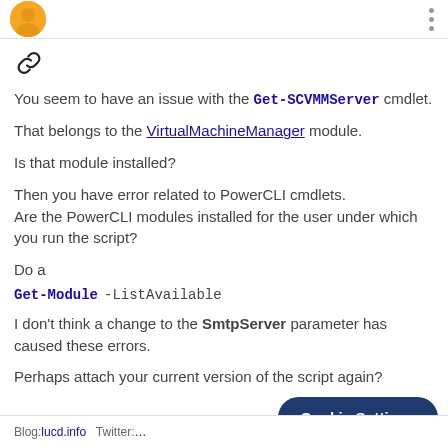[Figure (logo): Yellow avatar icon at top left]
You seem to have an issue with the Get-SCVMMServer cmdlet.
That belongs to the VirtualMachineManager module.
Is that module installed?
Then you have error related to PowerCLI cmdlets.
Are the PowerCLI modules installed for the user under which you run the script?
Do a
Get-Module -ListAvailable
I don't think a change to the SmtpServer parameter has caused these errors.
Perhaps attach your current version of the script again?
Blog: lucd.info   Twitter: …